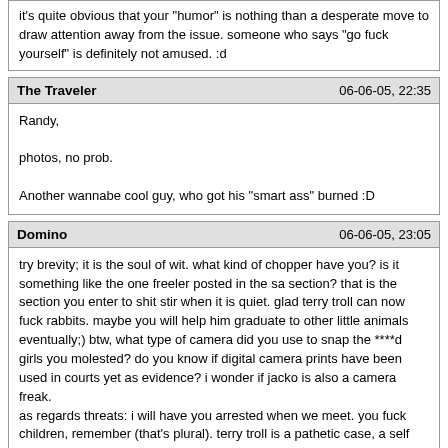it's quite obvious that your "humor" is nothing than a desperate move to draw attention away from the issue. someone who says "go fuck yourself" is definitely not amused. :d
The Traveler	06-06-05, 22:35
Randy,

photos, no prob.

Another wannabe cool guy, who got his "smart ass" burned :D
Domino	06-06-05, 23:05
try brevity; it is the soul of wit. what kind of chopper have you? is it something like the one freeler posted in the sa section? that is the section you enter to shit stir when it is quiet. glad terry troll can now fuck rabbits. maybe you will help him graduate to other little animals eventually;) btw, what type of camera did you use to snap the ****d girls you molested? do you know if digital camera prints have been used in courts yet as evidence? i wonder if jacko is also a camera freak.
as regards threats: i will have you arrested when we meet. you fuck children, remember (that's plural). terry troll is a pathetic case, a self confessed and self proven moron, the wsg's resident idiot.

reading your latest pics. so you into naked boys bums as well as your other perversions. (there is an old afghan marching song which compares little boys' bums to succulent peaches; perhaps you are familiar with it). you have been too long in thailand. try a normal woman next time, from germany. there must be at least one, besides your mother, who will have you.
JuiceSpike	06-07-05, 03:07
Thanks for being my numbe ONE fan... I wonder one thing: are you posting pictures of men asses to tells us something about yourself (a F slip...)? Your